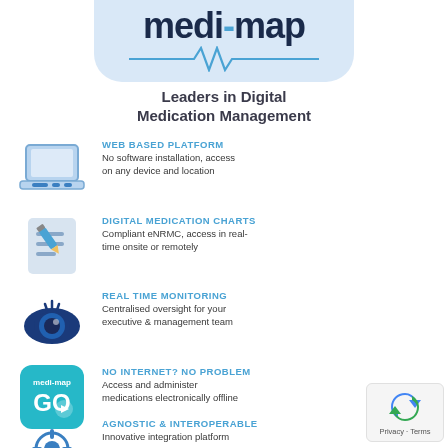[Figure (logo): medi-map logo with ECG heartbeat line on light blue rounded rectangle background]
Leaders in Digital Medication Management
WEB BASED PLATFORM – No software installation, access on any device and location
DIGITAL MEDICATION CHARTS – Compliant eNRMC, access in real-time onsite or remotely
REAL TIME MONITORING – Centralised oversight for your executive & management team
NO INTERNET? NO PROBLEM – Access and administer medications electronically offline
AGNOSTIC & INTEROPERABLE – Innovative integration platform
[Figure (logo): Google reCAPTCHA badge with Privacy and Terms links]